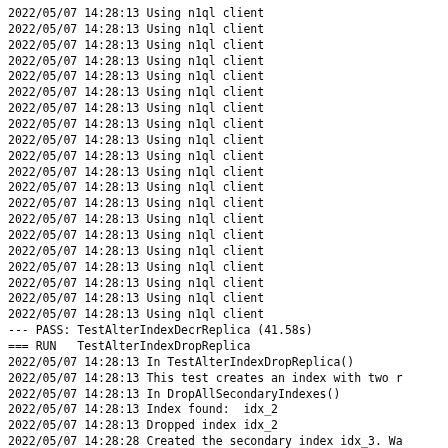2022/05/07 14:28:13 Using n1ql client
2022/05/07 14:28:13 Using n1ql client
2022/05/07 14:28:13 Using n1ql client
2022/05/07 14:28:13 Using n1ql client
2022/05/07 14:28:13 Using n1ql client
2022/05/07 14:28:13 Using n1ql client
2022/05/07 14:28:13 Using n1ql client
2022/05/07 14:28:13 Using n1ql client
2022/05/07 14:28:13 Using n1ql client
2022/05/07 14:28:13 Using n1ql client
2022/05/07 14:28:13 Using n1ql client
2022/05/07 14:28:13 Using n1ql client
2022/05/07 14:28:13 Using n1ql client
2022/05/07 14:28:13 Using n1ql client
2022/05/07 14:28:13 Using n1ql client
2022/05/07 14:28:13 Using n1ql client
2022/05/07 14:28:13 Using n1ql client
2022/05/07 14:28:13 Using n1ql client
2022/05/07 14:28:13 Using n1ql client
2022/05/07 14:28:13 Using n1ql client
--- PASS: TestAlterIndexDecrReplica (41.58s)
=== RUN   TestAlterIndexDropReplica
2022/05/07 14:28:13 In TestAlterIndexDropReplica()
2022/05/07 14:28:13 This test creates an index with two r
2022/05/07 14:28:13 In DropAllSecondaryIndexes()
2022/05/07 14:28:13 Index found:  idx_2
2022/05/07 14:28:13 Dropped index idx_2
2022/05/07 14:28:28 Created the secondary index idx_3. Wa
2022/05/07 14:28:28 Index is 727950350355603690 now acti
2022/05/07 14:28:28 Executing alter index command: alter